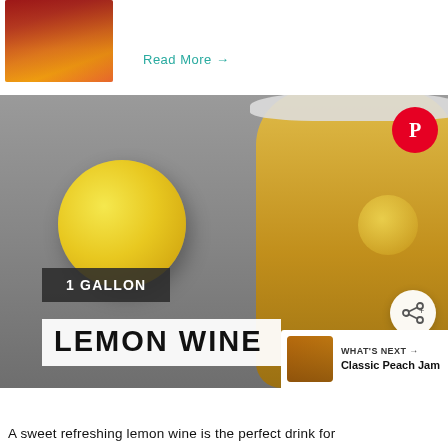[Figure (photo): Photo of colorful drink cans or bottles in red, orange and yellow tones]
Read More →
[Figure (photo): Close-up photo of a yellow lemon next to a glass jar filled with golden lemon wine. Text overlay reads '1 GALLON' and 'LEMON WINE'. Pinterest save button and share button visible. 'WHAT'S NEXT → Classic Peach Jam' banner in bottom right.]
A sweet refreshing lemon wine is the perfect drink for